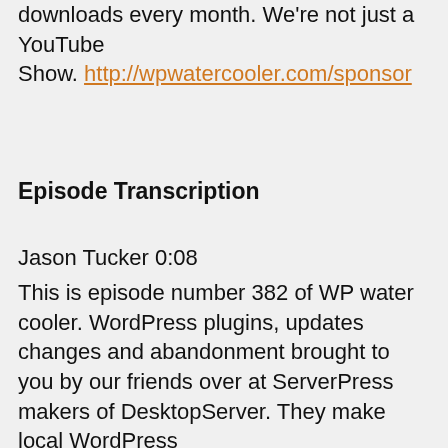downloads every month. We're not just a YouTube Show. http://wpwatercooler.com/sponsor
Episode Transcription
Jason Tucker 0:08
This is episode number 382 of WP water cooler. WordPress plugins, updates changes and abandonment brought to you by our friends over at ServerPress makers of DesktopServer. They make local WordPress